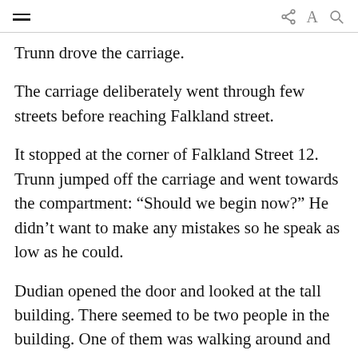[navigation icons: hamburger menu, share, font-size, search]
Trunn drove the carriage.
The carriage deliberately went through few streets before reaching Falkland street.
It stopped at the corner of Falkland Street 12. Trunn jumped off the carriage and went towards the compartment: “Should we begin now?” He didn’t want to make any mistakes so he speak as low as he could.
Dudian opened the door and looked at the tall building. There seemed to be two people in the building. One of them was walking around and